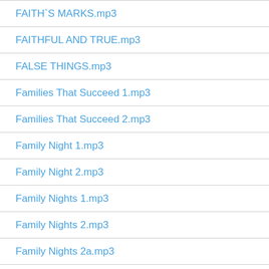FAITH`S MARKS.mp3
FAITHFUL AND TRUE.mp3
FALSE THINGS.mp3
Families That Succeed 1.mp3
Families That Succeed 2.mp3
Family Night 1.mp3
Family Night 2.mp3
Family Nights 1.mp3
Family Nights 2.mp3
Family Nights 2a.mp3